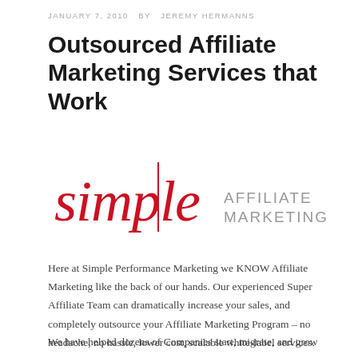JANUARY 7, 2010  BY  JEREMY HERMANNS
Outsourced Affiliate Marketing Services that Work
[Figure (logo): Simple Affiliate Marketing logo: the word 'simple' in large red serif italic font with a vertical red line accent on the letter 'i', followed by 'AFFILIATE MARKETING' in grey sans-serif capitals to the right.]
Here at Simple Performance Marketing we KNOW Affiliate Marketing like the back of our hands. Our experienced Super Affiliate Team can dramatically increase your sales, and completely outsource your Affiliate Marketing Program – no headache, no hassle, lower cost, scalable white-label services.
We have helped dozens of Companies start, migrate, and grow